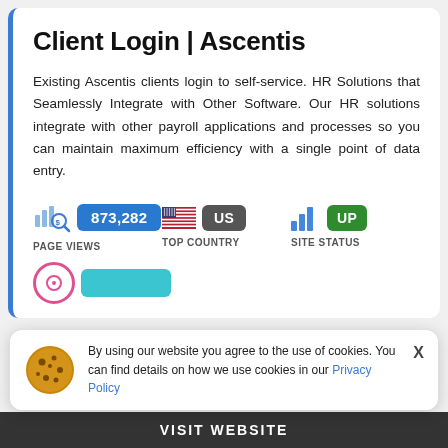Client Login | Ascentis
Existing Ascentis clients login to self-service. HR Solutions that Seamlessly Integrate with Other Software. Our HR solutions integrate with other payroll applications and processes so you can maintain maximum efficiency with a single point of data entry.
[Figure (infographic): Stats row showing page views (873,282), top country (US flag + US badge), and site status (bar chart icon + UP badge)]
By using our website you agree to the use of cookies. You can find details on how we use cookies in our Privacy Policy
VISIT WEBSITE